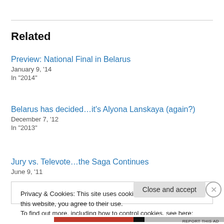Related
Preview: National Final in Belarus
January 9, '14
In "2014"
Belarus has decided…it's Alyona Lanskaya (again?)
December 7, '12
In "2013"
Jury vs. Televote…the Saga Continues
June 9, '11
Privacy & Cookies: This site uses cookies. By continuing to use this website, you agree to their use.
To find out more, including how to control cookies, see here: Cookie Policy